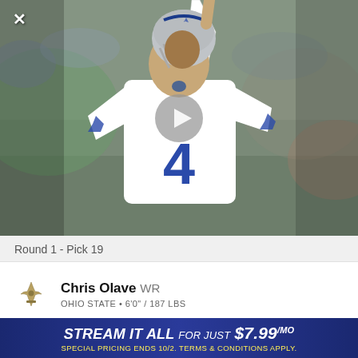[Figure (photo): NFL quarterback wearing Dallas Cowboys white jersey number 4, pointing finger upward, with blurred stadium crowd in background. Video play button overlay visible in center.]
Round 1 - Pick 19
Chris Olave WR
OHIO STATE • 6'0" / 187 LBS
PROJECTED TEAM   PROSPECT RNK   POSITION RNK
STREAM IT ALL FOR JUST $7.99/mo SPECIAL PRICING ENDS 10/2. TERMS & CONDITIONS APPLY.